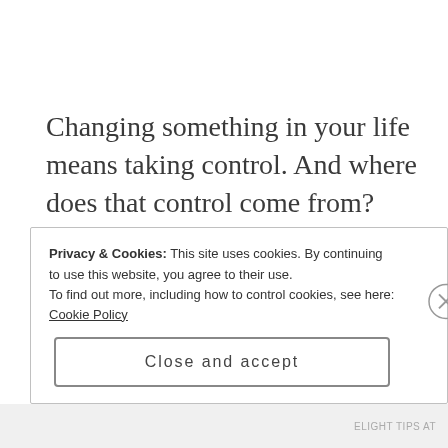Changing something in your life means taking control. And where does that control come from? Your personality, values...your attitude, right?
Privacy & Cookies: This site uses cookies. By continuing to use this website, you agree to their use.
To find out more, including how to control cookies, see here:
Cookie Policy
Close and accept